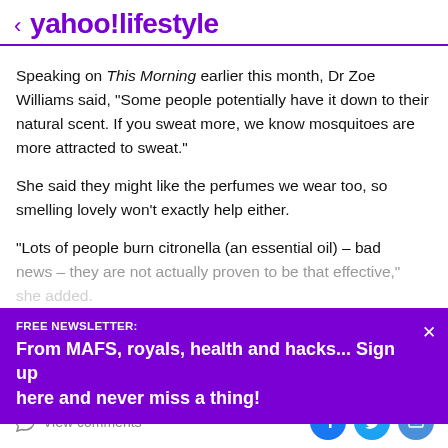< yahoo!lifestyle
Speaking on This Morning earlier this month, Dr Zoe Williams said, “Some people potentially have it down to their natural scent. If you sweat more, we know mosquitoes are more attracted to sweat.”
She said they might like the perfumes we wear too, so smelling lovely won’t exactly help either.
“Lots of people burn citronella (an essential oil) – bad news – they are not actually proven to be that effective,” she added.
[Figure (infographic): Purple newsletter signup banner reading FREE NEWSLETTER: From MAFS, royals, health and hacks... Sign up here and never miss a thing! with an X close button]
View comments | Social share icons: Facebook, Twitter, Email